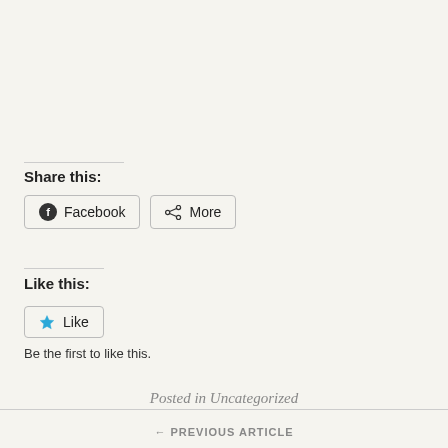Share this:
Facebook   More
Like this:
Like
Be the first to like this.
Posted in Uncategorized
← PREVIOUS ARTICLE